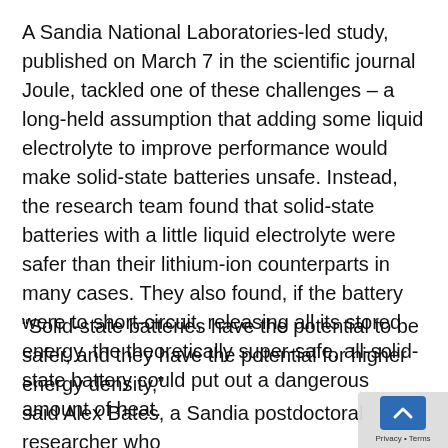A Sandia National Laboratories-led study, published on March 7 in the scientific journal Joule, tackled one of these challenges – a long-held assumption that adding some liquid electrolyte to improve performance would make solid-state batteries unsafe. Instead, the research team found that solid-state batteries with a little liquid electrolyte were safer than their lithium-ion counterparts in many cases. They also found, if the battery were to short-circuit, releasing all its stored energy, the theoretically super-safe, all-solid-state battery could put out a dangerous amount of heat.
“Solid-state batteries have the potential to be safer, and they have the potential for higher energy density,” said Alex Bates, a Sandia postdoctoral researcher who led the study for the paper. “This means, for ele...